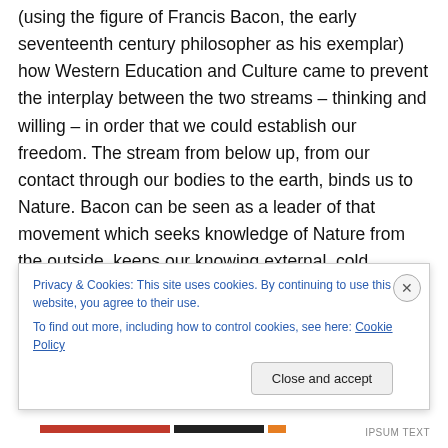(using the figure of Francis Bacon, the early seventeenth century philosopher as his exemplar) how Western Education and Culture came to prevent the interplay between the two streams – thinking and willing – in order that we could establish our freedom. The stream from below up, from our contact through our bodies to the earth, binds us to Nature. Bacon can be seen as a leader of that movement which seeks knowledge of Nature from the outside, keeps our knowing external, cold, observational. We cut thinking off in the head and leave
Privacy & Cookies: This site uses cookies. By continuing to use this website, you agree to their use.
To find out more, including how to control cookies, see here: Cookie Policy
Close and accept